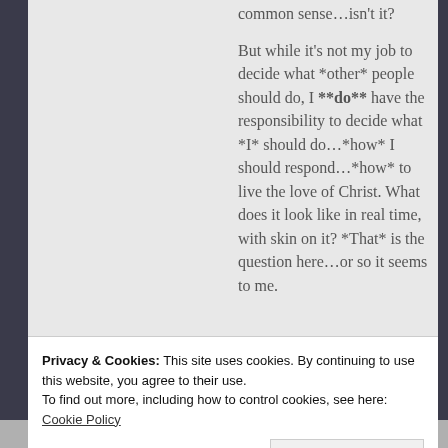common sense…isn't it?

But while it's not my job to decide what *other* people should do, I **do** have the responsibility to decide what *I* should do…*how* I should respond…*how* to live the love of Christ. What does it look like in real time, with skin on it? *That* is the question here…or so it seems to me.
★ Liked by 1 person
Privacy & Cookies: This site uses cookies. By continuing to use this website, you agree to their use.
To find out more, including how to control cookies, see here: Cookie Policy
Close and accept